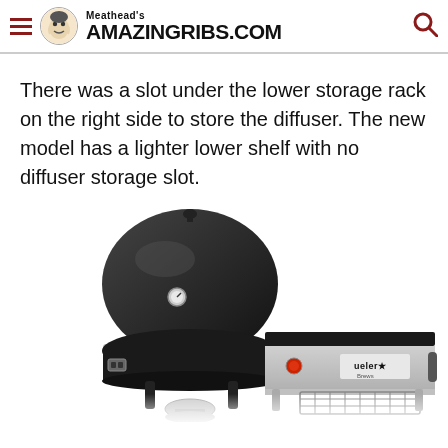Meathead's AmazingRibs.com
There was a slot under the lower storage rack on the right side to store the diffuser. The new model has a lighter lower shelf with no diffuser storage slot.
[Figure (photo): A black bullet-style smoker grill (Weber) with a round domed lid, temperature gauge, and metal legs, shown alongside a stainless steel side table with a wire basket shelf and Weber branding.]